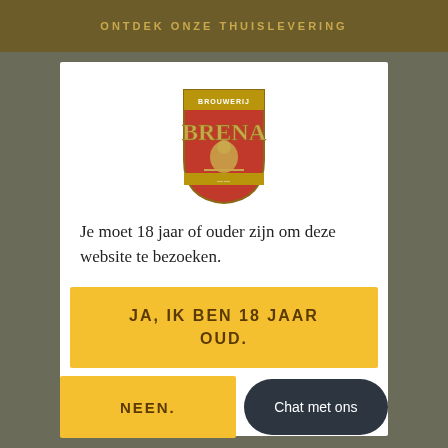ONTDEK ONZE THUISLEVERING
[Figure (logo): Brouwerij Brena shield logo — red and gold crest with lion figure and wheat, text 'BROUWERIJ BRENA' on banner]
Je moet 18 jaar of ouder zijn om deze website te bezoeken.
JA, IK BEN 18 JAAR OUD.
NEEN.
Chat met ons